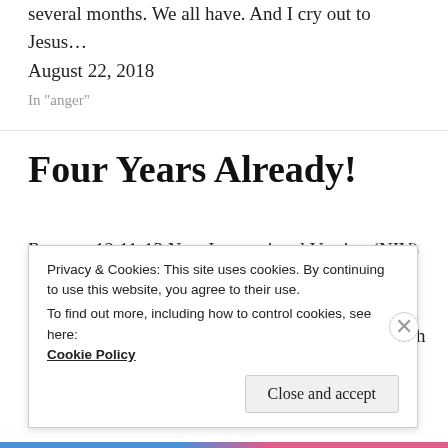several months. We all have. And I cry out to Jesus…
August 22, 2018
In "anger"
Four Years Already!
Romans 12:11-13 New International Version (NIV) 11 Never be lacking in zeal, but keep your spiritual fervor, serving the Lord. 12 Be joyful in hope, patient in affliction, faithful in prayer. 13 Share with the Lord's people who are in need. Practice
Privacy & Cookies: This site uses cookies. By continuing to use this website, you agree to their use.
To find out more, including how to control cookies, see here: Cookie Policy